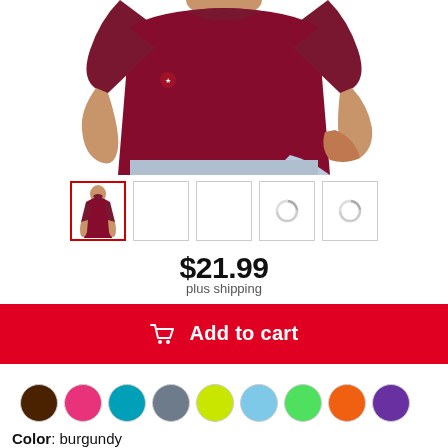[Figure (photo): Man wearing a burgundy/maroon short-sleeve t-shirt, cropped to show torso and part of head, against white background]
[Figure (photo): Thumbnail strip of 5 product images: first selected (man in burgundy shirt), next two empty/loading, last two showing loading spinner circles]
$21.99
plus shipping
Add to cart
Color: burgundy